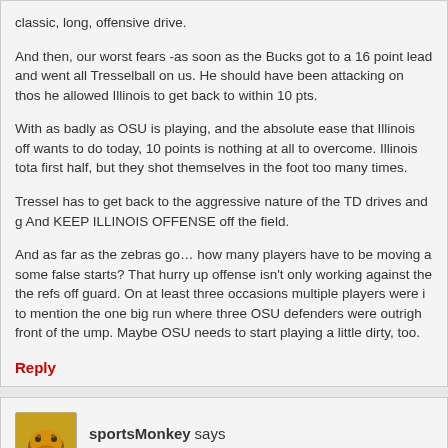classic, long, offensive drive.
And then, our worst fears -as soon as the Bucks got to a 16 point lead and went all Tresselball on us. He should have been attacking on those and he allowed Illinois to get back to within 10 pts.
With as badly as OSU is playing, and the absolute ease that Illinois off wants to do today, 10 points is nothing at all to overcome. Illinois tota first half, but they shot themselves in the foot too many times.
Tressel has to get back to the aggressive nature of the TD drives and g And KEEP ILLINOIS OFFENSE off the field.
And as far as the zebras go… how many players have to be moving a some false starts? That hurry up offense isn't only working against the the refs off guard. On at least three occasions multiple players were i to mention the one big run where three OSU defenders were outrigh front of the ump. Maybe OSU needs to start playing a little dirty, too.
Reply
sportsMonkey says
November 15, 2008 at 2:41 pm